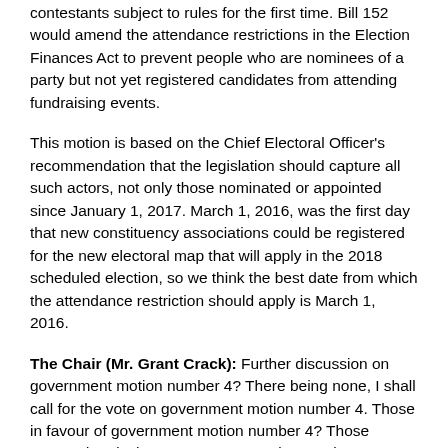contestants subject to rules for the first time. Bill 152 would amend the attendance restrictions in the Election Finances Act to prevent people who are nominees of a party but not yet registered candidates from attending fundraising events.
This motion is based on the Chief Electoral Officer's recommendation that the legislation should capture all such actors, not only those nominated or appointed since January 1, 2017. March 1, 2016, was the first day that new constituency associations could be registered for the new electoral map that will apply in the 2018 scheduled election, so we think the best date from which the attendance restriction should apply is March 1, 2016.
The Chair (Mr. Grant Crack): Further discussion on government motion number 4? There being none, I shall call for the vote on government motion number 4. Those in favour of government motion number 4? Those opposed? I declare government motion number 4 carried.